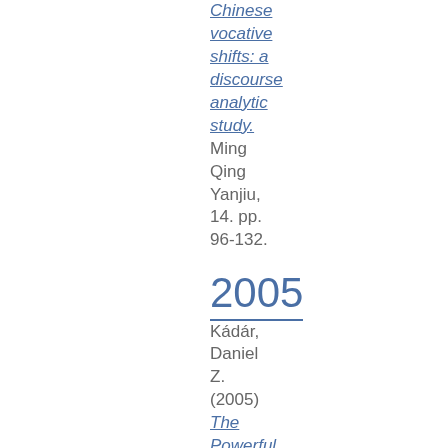Chinese vocative shifts: a discourse analytic study.
Ming Qing Yanjiu, 14. pp. 96-132.
2005
Kádár, Daniel Z. (2005)
The Powerful and the